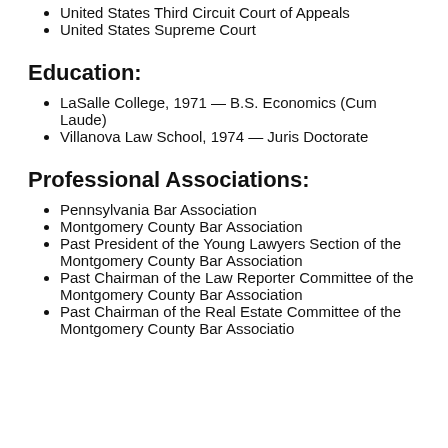United States Third Circuit Court of Appeals
United States Supreme Court
Education:
LaSalle College, 1971 — B.S. Economics (Cum Laude)
Villanova Law School, 1974 — Juris Doctorate
Professional Associations:
Pennsylvania Bar Association
Montgomery County Bar Association
Past President of the Young Lawyers Section of the Montgomery County Bar Association
Past Chairman of the Law Reporter Committee of the Montgomery County Bar Association
Past Chairman of the Real Estate Committee of the Montgomery County Bar Association